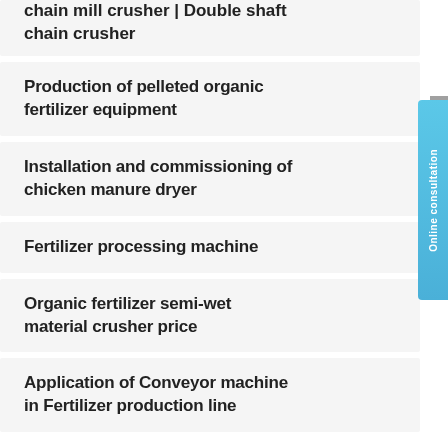chain mill crusher |Double shaft chain crusher
Production of pelleted organic fertilizer equipment
Installation and commissioning of chicken manure dryer
Fertilizer processing machine
Organic fertilizer semi-wet material crusher price
Application of Conveyor machine in Fertilizer production line